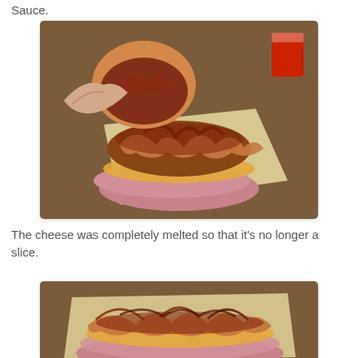Sauce.
[Figure (photo): A hand holding the top bun of a burger open to reveal BBQ sauce inside, with the bottom portion of the burger showing melted cheese, caramelized onions or fried toppings, and BBQ sauce on parchment paper on a wooden table.]
The cheese was completely melted so that it's no longer a slice.
[Figure (photo): Close-up of burger toppings including fried onion strings or strips, melted cheese, BBQ sauce, and pink meat, all piled on parchment paper on a wooden surface.]